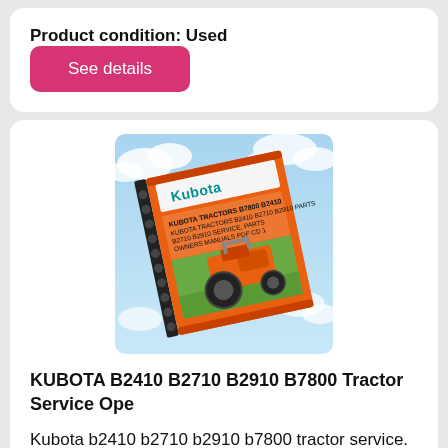Product condition: Used
See details
[Figure (photo): A spiral-bound Kubota tractor service manual with an orange cover showing a Kubota tractor, set against a blue sky with clouds background.]
KUBOTA B2410 B2710 B2910 B7800 Tractor Service Ope
Kubota b2410 b2710 b2910 b7800 tractor service. kubota tractors  kubota tractor backhoe smoke kubota tractor  kubota tractor  kubota kubot. kubota tractor